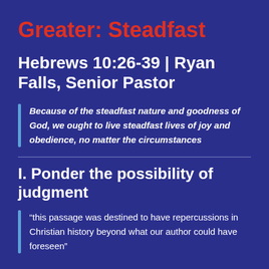Greater: Steadfast
Hebrews 10:26-39 | Ryan Falls, Senior Pastor
Because of the steadfast nature and goodness of God, we ought to live steadfast lives of joy and obedience, no matter the circumstances
I. Ponder the possibility of judgment
“this passage was destined to have repercussions in Christian history beyond what our author could have foreseen”